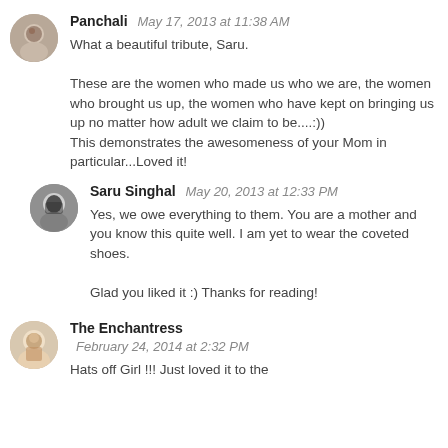Panchali  May 17, 2013 at 11:38 AM
What a beautiful tribute, Saru.

These are the women who made us who we are, the women who brought us up, the women who have kept on bringing us up no matter how adult we claim to be....:))
This demonstrates the awesomeness of your Mom in particular...Loved it!
Saru Singhal  May 20, 2013 at 12:33 PM
Yes, we owe everything to them. You are a mother and you know this quite well. I am yet to wear the coveted shoes.

Glad you liked it :) Thanks for reading!
The Enchantress
February 24, 2014 at 2:32 PM
Hats off Girl !!! Just loved it to the